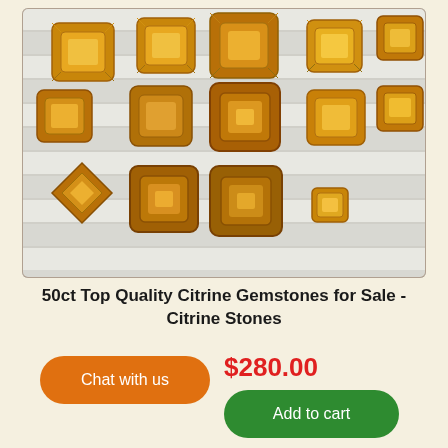[Figure (photo): Multiple faceted citrine gemstones of various sizes arranged on a white display surface. The stones are golden-yellow to amber colored with square/rectangular emerald cut faceting. Approximately 20 stones visible ranging from small to large.]
50ct Top Quality Citrine Gemstones for Sale - Citrine Stones
$280.00
Chat with us
Add to cart